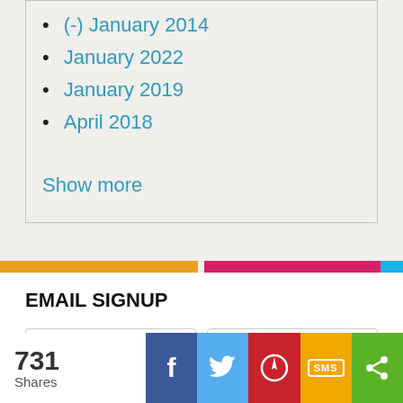(-) January 2014
January 2022
January 2019
April 2018
Show more
EMAIL SIGNUP
First Name
Last Name
731 Shares  f  [Twitter]  [Pinterest]  SMS  [Share]